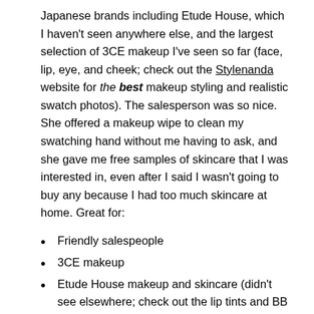Japanese brands including Etude House, which I haven't seen anywhere else, and the largest selection of 3CE makeup I've seen so far (face, lip, eye, and cheek; check out the Stylenanda website for the best makeup styling and realistic swatch photos). The salesperson was so nice. She offered a makeup wipe to clean my swatching hand without me having to ask, and she gave me free samples of skincare that I was interested in, even after I said I wasn't going to buy any because I had too much skincare at home. Great for:
Friendly salespeople
3CE makeup
Etude House makeup and skincare (didn't see elsewhere; check out the lip tints and BB cushions–including the peach, mint, and pink color-correcting cushions)
Laduree makeup (didn't see elsewhere; yes, the Parisian macaron bakery has a makeup line, and an exquisite and